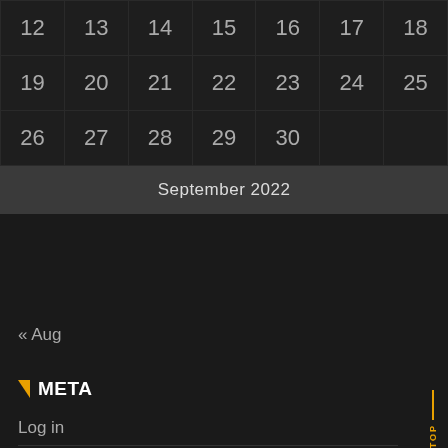| 12 | 13 | 14 | 15 | 16 | 17 | 18 |
| 19 | 20 | 21 | 22 | 23 | 24 | 25 |
| 26 | 27 | 28 | 29 | 30 |  |  |
September 2022
« Aug
META
Log in
Entries feed
Comments feed